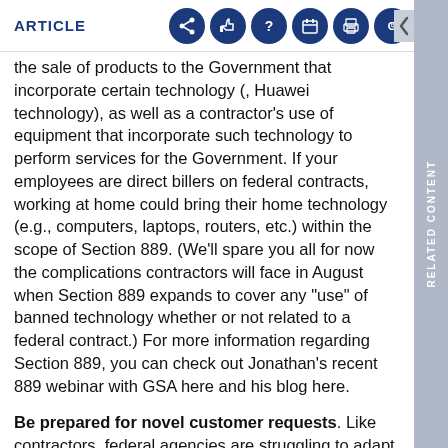ARTICLE
the sale of products to the Government that incorporate certain technology (, Huawei technology), as well as a contractor's use of equipment that incorporate such technology to perform services for the Government. If your employees are direct billers on federal contracts, working at home could bring their home technology (e.g., computers, laptops, routers, etc.) within the scope of Section 889. (We'll spare you all for now the complications contractors will face in August when Section 889 expands to cover any "use" of banned technology whether or not related to a federal contract.) For more information regarding Section 889, you can check out Jonathan's recent 889 webinar with GSA here and his blog here.
Be prepared for novel customer requests. Like contractors, federal agencies are struggling to adapt to the realities of a Corona-fueled purchasing and performance landscape. As federal agencies contemplate sending their own employees to work at home, they are going to face a host of questions not contemplated by